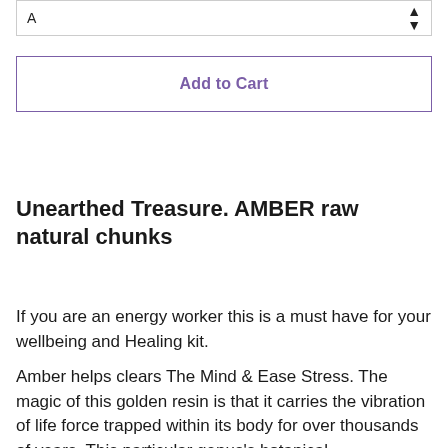[Figure (screenshot): Dropdown selector box showing letter 'A' with up/down arrows on the right side]
[Figure (screenshot): Add to Cart button with purple border and purple bold text on white background]
Unearthed Treasure. AMBER raw natural chunks
If you are an energy worker this is a must have for your wellbeing and Healing kit.
Amber helps clears The Mind &  Ease Stress. The magic of this golden resin is that it carries the vibration of life force trapped within its body for over thousands of years. This particular genus's botanical